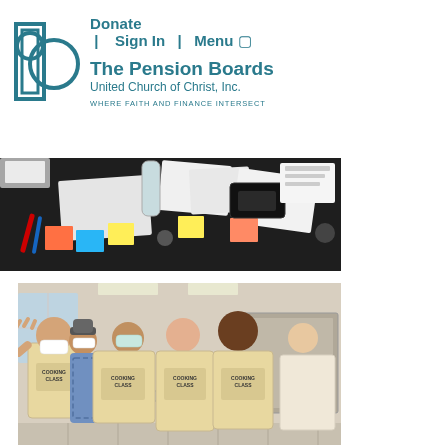Donate | Sign In | Menu
[Figure (logo): The Pension Boards United Church of Christ, Inc. logo with circular interlocked letters 'pb' and tagline WHERE FAITH AND FINANCE INTERSECT]
[Figure (photo): Top-down view of a dark table covered with papers, sticky notes (orange, blue, yellow), a water bottle, a scanner/device, markers, and various workshop materials]
[Figure (photo): Group of people in a commercial kitchen wearing beige 'COOKING CLASS' aprons. Some wear face masks. One person waves at the camera. They are standing around a stainless steel prep table.]